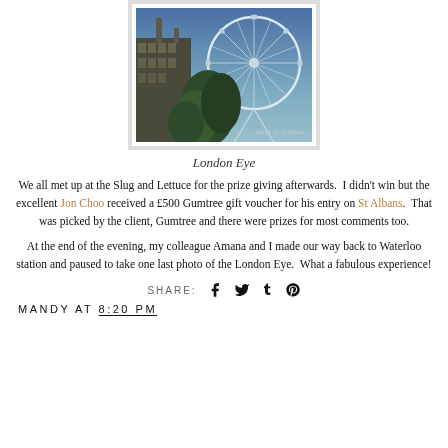[Figure (photo): Photo of the London Eye ferris wheel from ground level, with trees and a historic building visible, taken at dusk. Watermark 'emm in london' in bottom right corner.]
London Eye
We all met up at the Slug and Lettuce for the prize giving afterwards.  I didn't win but the excellent Jon Choo received a £500 Gumtree gift voucher for his entry on St Albans.  That was picked by the client, Gumtree and there were prizes for most comments too.
At the end of the evening, my colleague Amana and I made our way back to Waterloo station and paused to take one last photo of the London Eye.  What a fabulous experience!
SHARE: [Facebook] [Twitter] [Tumblr] [Pinterest]
MANDY AT 8:20 PM